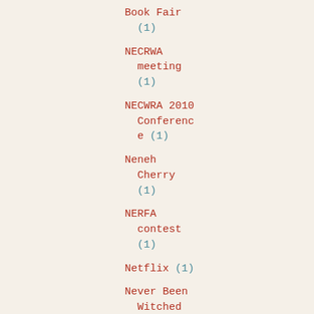Book Fair (1)
NECRWA meeting (1)
NECWRA 2010 Conference (1)
Neneh Cherry (1)
NERFA contest (1)
Netflix (1)
Never Been Witched (1)